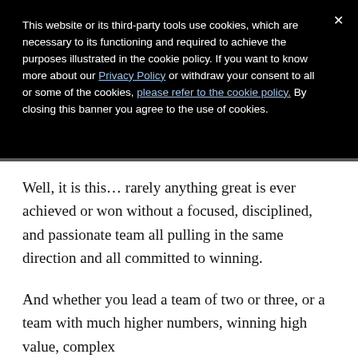This website or its third-party tools use cookies, which are necessary to its functioning and required to achieve the purposes illustrated in the cookie policy. If you want to know more about our Privacy Policy or withdraw your consent to all or some of the cookies, please refer to the cookie policy. By closing this banner you agree to the use of cookies.
Well, it is this... rarely anything great is ever achieved or won without a focused, disciplined, and passionate team all pulling in the same direction and all committed to winning.
And whether you lead a team of two or three, or a team with much higher numbers, winning high value, complex